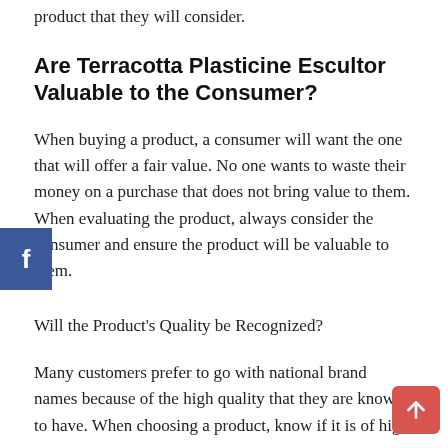product that they will consider.
Are Terracotta Plasticine Escultor Valuable to the Consumer?
When buying a product, a consumer will want the one that will offer a fair value. No one wants to waste their money on a purchase that does not bring value to them. When evaluating the product, always consider the consumer and ensure the product will be valuable to them.
Will the Product's Quality be Recognized?
Many customers prefer to go with national brand names because of the high quality that they are known to have. When choosing a product, know if it is of high